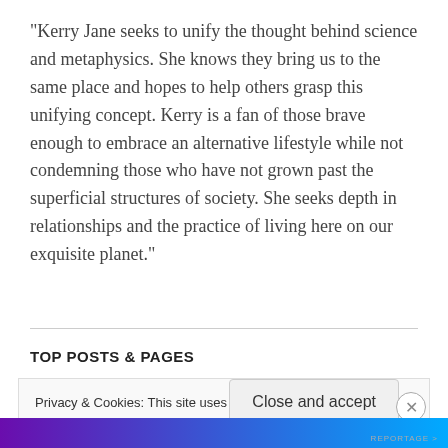"Kerry Jane seeks to unify the thought behind science and metaphysics. She knows they bring us to the same place and hopes to help others grasp this unifying concept. Kerry is a fan of those brave enough to embrace an alternative lifestyle while not condemning those who have not grown past the superficial structures of society. She seeks depth in relationships and the practice of living here on our exquisite planet."
TOP POSTS & PAGES
Privacy & Cookies: This site uses cookies. By continuing to use this website, you agree to their use.
To find out more, including how to control cookies, see here: Cookie Policy
Close and accept